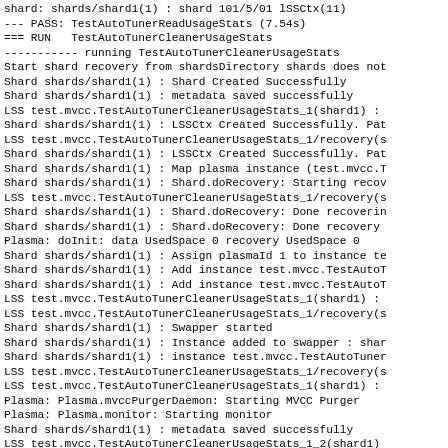shard: shards/shard1(1) : shard 101/5/01 lSSCtx(11)
--- PASS: TestAutoTunerReadUsageStats (7.54s)
=== RUN   TestAutoTunerCleanerUsageStats
----------- running TestAutoTunerCleanerUsageStats
Start shard recovery from shardsDirectory shards does not
Shard shards/shard1(1) : Shard Created Successfully
Shard shards/shard1(1) : metadata saved successfully
LSS test.mvcc.TestAutoTunerCleanerUsageStats_1(shard1) :
Shard shards/shard1(1) : LSSCtx Created Successfully. Pat
LSS test.mvcc.TestAutoTunerCleanerUsageStats_1/recovery(s
Shard shards/shard1(1) : LSSCtx Created Successfully. Pat
Shard shards/shard1(1) : Map plasma instance (test.mvcc.T
Shard shards/shard1(1) : Shard.doRecovery: Starting recov
LSS test.mvcc.TestAutoTunerCleanerUsageStats_1/recovery(s
Shard shards/shard1(1) : Shard.doRecovery: Done recoverin
Shard shards/shard1(1) : Shard.doRecovery: Done recovery
Plasma: doInit: data UsedSpace 0 recovery UsedSpace 0
Shard shards/shard1(1) : Assign plasmaId 1 to instance te
Shard shards/shard1(1) : Add instance test.mvcc.TestAutoT
Shard shards/shard1(1) : Add instance test.mvcc.TestAutoT
LSS test.mvcc.TestAutoTunerCleanerUsageStats_1(shard1) :
LSS test.mvcc.TestAutoTunerCleanerUsageStats_1/recovery(s
Shard shards/shard1(1) : Swapper started
Shard shards/shard1(1) : Instance added to swapper : shar
Shard shards/shard1(1) : instance test.mvcc.TestAutoTuner
LSS test.mvcc.TestAutoTunerCleanerUsageStats_1/recovery(s
LSS test.mvcc.TestAutoTunerCleanerUsageStats_1(shard1) :
Plasma: Plasma.mvccPurgerDaemon: Starting MVCC Purger
Plasma: Plasma.monitor: Starting monitor
Shard shards/shard1(1) : metadata saved successfully
LSS test.mvcc.TestAutoTunerCleanerUsageStats_1_2(shard1)